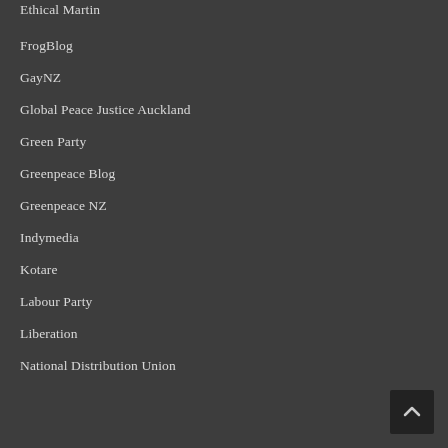Ethical Martin
FrogBlog
GayNZ
Global Peace Justice Auckland
Green Party
Greenpeace Blog
Greenpeace NZ
Indymedia
Kotare
Labour Party
Liberation
National Distribution Union